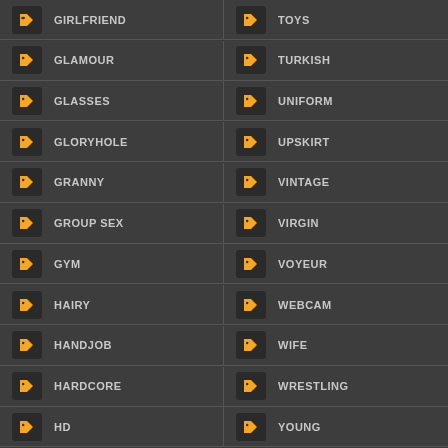GIRLFRIEND
TOYS
GLAMOUR
TURKISH
GLASSES
UNIFORM
GLORYHOLE
UPSKIRT
GRANNY
VINTAGE
GROUP SEX
VIRGIN
GYM
VOYEUR
HAIRY
WEBCAM
HANDJOB
WIFE
HARDCORE
WRESTLING
HD
YOUNG